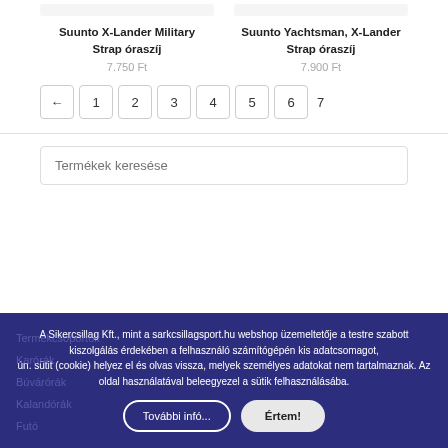Suunto X-Lander Military Strap óraszíj
7.750 Ft
Suunto Yachtsman, X-Lander Strap óraszíj
7.900 Ft
← 1 2 3 4 5 6 7
Termékek keresése
A Sikercsillag Kft., mint a sarkcsillagsport.hu webshop üzemeltetője a testre szabott kiszolgálás érdekében a felhasználó számítógépén kis adatcsomagot, ún. sütit (cookie) helyez el és olvas vissza, melyek személyes adatokat nem tartalmaznak. Az oldal használatával beleegyezel a sütik felhasználásába.
További infó...
Értem!